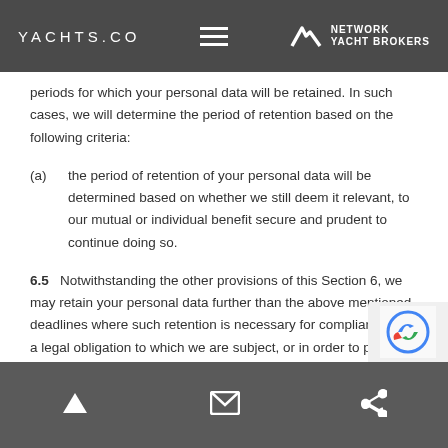YACHTS.CO | NETWORK YACHT BROKERS
periods for which your personal data will be retained. In such cases, we will determine the period of retention based on the following criteria:
(a)    the period of retention of your personal data will be determined based on whether we still deem it relevant, to our mutual or individual benefit secure and prudent to continue doing so.
6.5    Notwithstanding the other provisions of this Section 6, we may retain your personal data further than the above mentioned deadlines where such retention is necessary for compliance with a legal obligation to which we are subject, or in order to protect your vital interests or the vital interests of another natural person.
7.    Amendments
7.1    We may u... version on our...